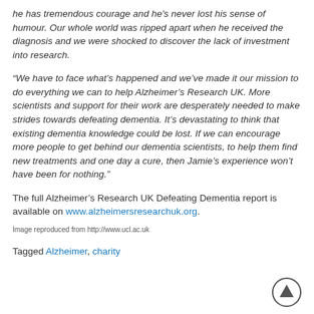he has tremendous courage and he’s never lost his sense of humour. Our whole world was ripped apart when he received the diagnosis and we were shocked to discover the lack of investment into research.
“We have to face what’s happened and we’ve made it our mission to do everything we can to help Alzheimer’s Research UK. More scientists and support for their work are desperately needed to make strides towards defeating dementia. It’s devastating to think that existing dementia knowledge could be lost. If we can encourage more people to get behind our dementia scientists, to help them find new treatments and one day a cure, then Jamie’s experience won’t have been for nothing.”
The full Alzheimer’s Research UK Defeating Dementia report is available on www.alzheimersresearchuk.org.
Image reproduced from http://www.ucl.ac.uk
Tagged Alzheimer, charity